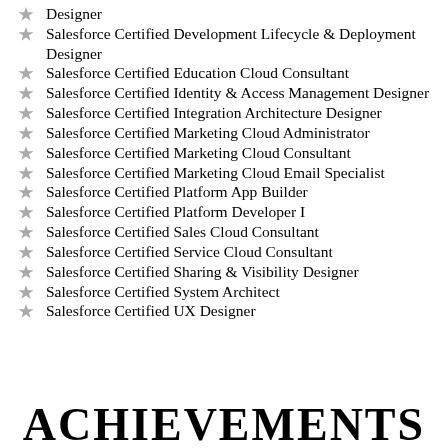Designer
Salesforce Certified Development Lifecycle & Deployment Designer
Salesforce Certified Education Cloud Consultant
Salesforce Certified Identity & Access Management Designer
Salesforce Certified Integration Architecture Designer
Salesforce Certified Marketing Cloud Administrator
Salesforce Certified Marketing Cloud Consultant
Salesforce Certified Marketing Cloud Email Specialist
Salesforce Certified Platform App Builder
Salesforce Certified Platform Developer I
Salesforce Certified Sales Cloud Consultant
Salesforce Certified Service Cloud Consultant
Salesforce Certified Sharing & Visibility Designer
Salesforce Certified System Architect
Salesforce Certified UX Designer
ACHIEVEMENTS